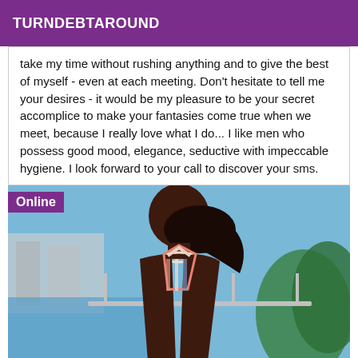TURNDEBTAROUND
take my time without rushing anything and to give the best of myself - even at each meeting. Don't hesitate to tell me your desires - it would be my pleasure to be your secret accomplice to make your fantasies come true when we meet, because I really love what I do... I like men who possess good mood, elegance, seductive with impeccable hygiene. I look forward to your call to discover your sms.
[Figure (photo): Woman in striped swimsuit standing on a balcony or terrace with a waterfront view behind her. An 'Online' badge appears in the top-left corner of the image.]